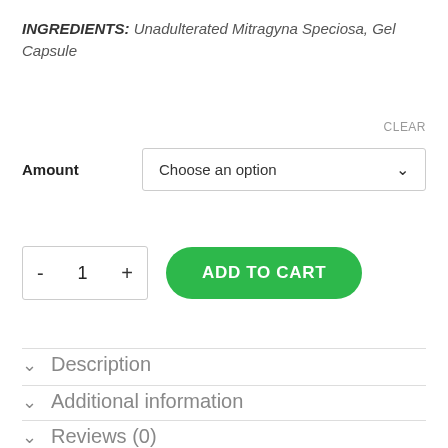INGREDIENTS: Unadulterated Mitragyna Speciosa, Gel Capsule
CLEAR
Amount
Choose an option
- 1 +
ADD TO CART
Description
Additional information
Reviews (0)